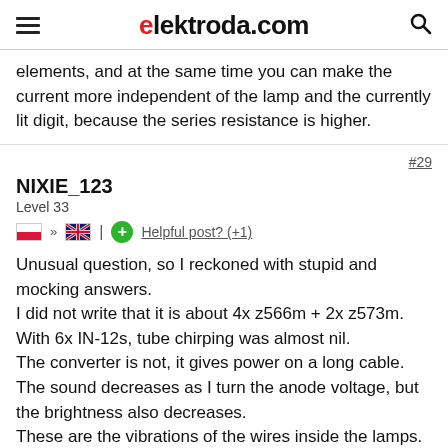elektroda.com
elements, and at the same time you can make the current more independent of the lamp and the currently lit digit, because the series resistance is higher.
#29
NIXIE_123
Level 33
Helpful post? (+1)
Unusual question, so I reckoned with stupid and mocking answers.
I did not write that it is about 4x z566m + 2x z573m.
With 6x IN-12s, tube chirping was almost nil.
The converter is not, it gives power on a long cable.
The sound decreases as I turn the anode voltage, but the brightness also decreases.
These are the vibrations of the wires inside the lamps. Even taking one in your hand and turning it, you can hear them